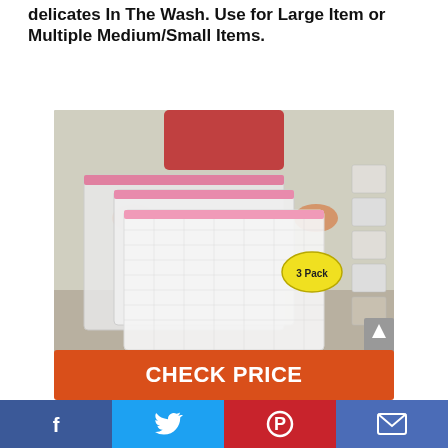delicates In The Wash. Use for Large Item or Multiple Medium/Small Items.
[Figure (photo): Person holding three white mesh laundry bags with pink zippers of different sizes (3 Pack), displayed outdoors]
CHECK PRICE
Facebook | Twitter | Pinterest | Email social sharing bar